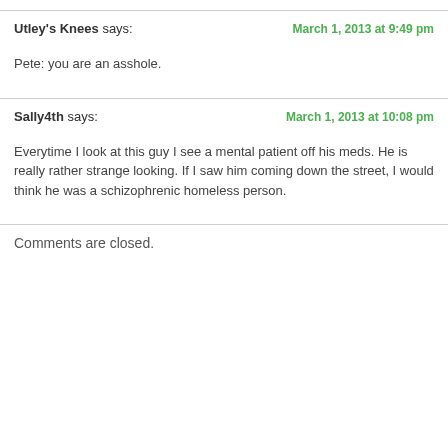Utley's Knees says: — March 1, 2013 at 9:49 pm
Pete: you are an asshole.
Sally4th says: — March 1, 2013 at 10:08 pm
Everytime I look at this guy I see a mental patient off his meds. He is really rather strange looking. If I saw him coming down the street, I would think he was a schizophrenic homeless person.
Comments are closed.